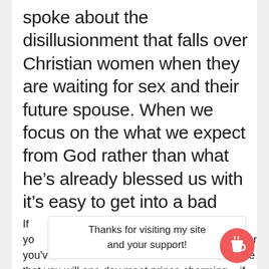spoke about the disillusionment that falls over Christian women when they are waiting for sex and their future spouse. When we focus on the what we expect from God rather than what he's already blessed us with it's easy to get into a bad headspace.
If you... are you've... be that you will one day meet prince charming... if
Thanks for visiting my site and your support!